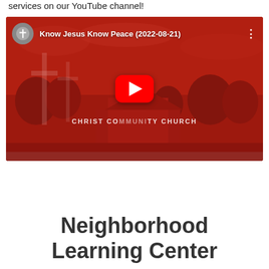services on our YouTube channel!
[Figure (screenshot): YouTube video thumbnail for 'Know Jesus Know Peace (2022-08-21)' showing a red-tinted image of Christ Community Church with a YouTube play button overlay]
Neighborhood Learning Center